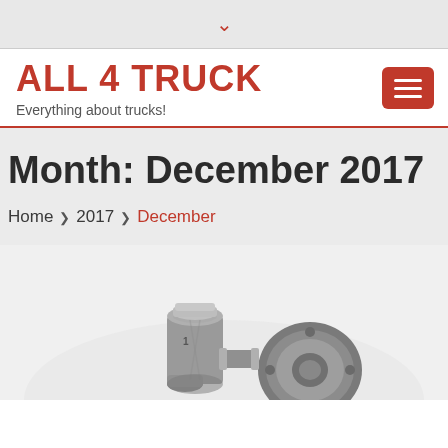▾
ALL 4 TRUCK
Everything about trucks!
Month: December 2017
Home ❯ 2017 ❯ December
[Figure (photo): Close-up photo of metal truck turbocharger or mechanical engine parts on a light background]